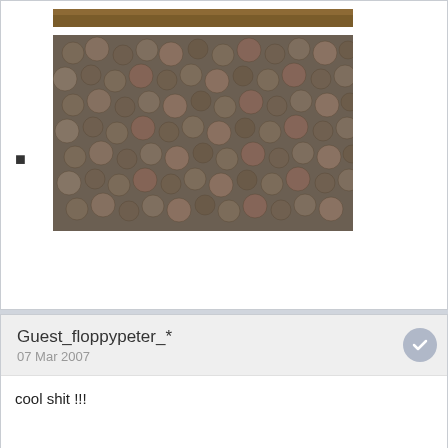[Figure (photo): Two images: a narrow strip of brown soil/earth at top and a large image of many small round objects (seeds or pellets) below, with a bullet point to the left]
Guest_floppypeter_*
07 Mar 2007
cool shit !!!

Waiting paitently.
:headbang:
Hippie3
07 Mar 2007
gathering from wild must be quite a chore,
wonder how the caged rabbits' doo is ?
just piles up under cages, easier to get
kocos
07 Mar 2007